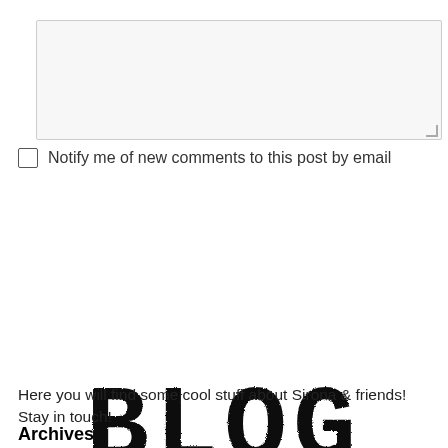[Figure (screenshot): Text area input box with light gray background and resize handle in bottom right corner]
Notify me of new comments to this post by email
[Figure (screenshot): Blue SUBMIT button]
[Figure (logo): BLOG text in large stamp/typewriter style bold font]
Here you will find some cool stuff about Sirona & friends! Stay in touch!
Archives